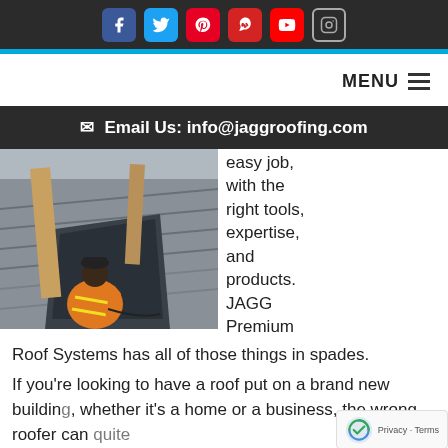Social media icons: Facebook, Twitter, Pinterest, Yelp, YouTube, Instagram
MENU ☰
✉ Email Us: info@jaggroofing.com
[Figure (photo): Worker in orange safety vest and black hat working on metal roof structure/skylight installation]
easy job, with the right tools, expertise, and products. JAGG Premium Roof Systems has all of those things in spades.
If you're looking to have a roof put on a brand new building, whether it's a home or a business, the wrong roofer can quite